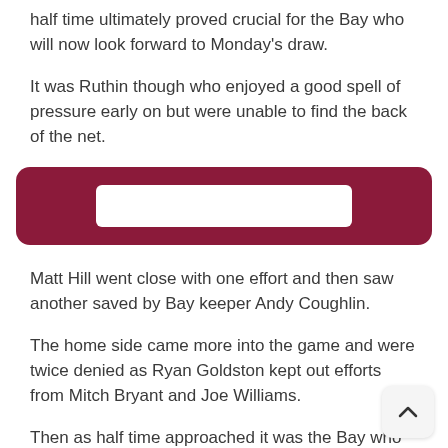half time ultimately proved crucial for the Bay who will now look forward to Monday's draw.
It was Ruthin though who enjoyed a good spell of pressure early on but were unable to find the back of the net.
[Figure (other): Dark red/maroon rounded banner with a white rectangular bar inside, likely an advertisement or promotional banner placeholder.]
Matt Hill went close with one effort and then saw another saved by Bay keeper Andy Coughlin.
The home side came more into the game and were twice denied as Ryan Goldston kept out efforts from Mitch Bryant and Joe Williams.
Then as half time approached it was the Bay who took the lead as Cai Owen found the back of the net.